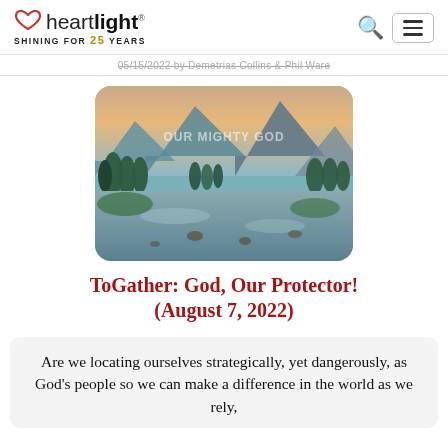heartlight — SHINING FOR 25 YEARS
05/15/2022 by Demetrias Collins & Phil Ware
[Figure (photo): Scenic landscape photo of mountains, pine trees, and a river with text overlay 'OUR MIGHTY GOD']
ToGather: God, Our Protector! (August 7, 2022)
Are we locating ourselves strategically, yet dangerously, as God's people so we can make a difference in the world as we rely,